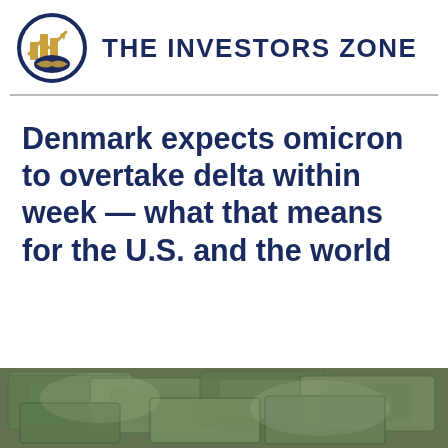[Figure (logo): The Investors Zone logo: circular emblem with gold buildings, chart arrow, and dark blue handshake]
THE INVESTORS ZONE
Denmark expects omicron to overtake delta within week — what that means for the U.S. and the world
[Figure (photo): Pile of US dollar bills, aerial close-up view]